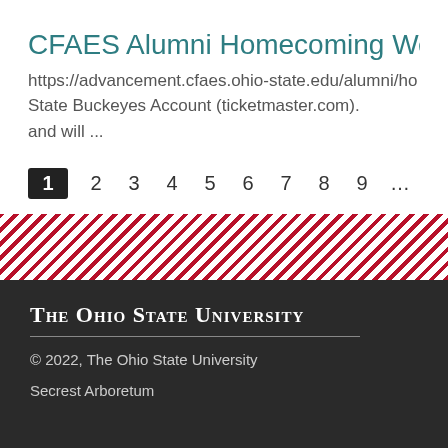CFAES Alumni Homecoming Weekend
https://advancement.cfaes.ohio-state.edu/alumni/ho... State Buckeyes Account (ticketmaster.com). and will ...
1 2 3 4 5 6 7 8 9 ...
[Figure (illustration): Diagonal red and white stripe decorative band]
The Ohio State University
© 2022, The Ohio State University
Secrest Arboretum